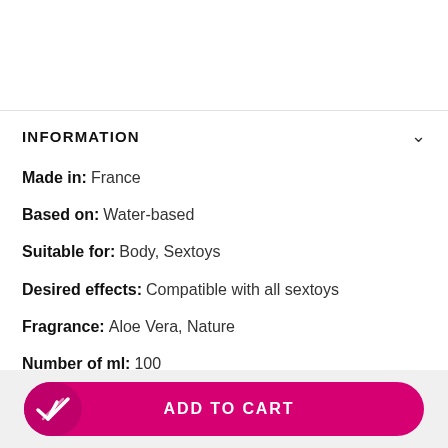INFORMATION
Made in:  France
Based on:  Water-based
Suitable for:  Body, Sextoys
Desired effects:  Compatible with all sextoys
Fragrance:  Aloe Vera, Nature
Number of ml:  100
Brand:  YesForLov
SKU:  94107
For who:  Couple, Man, Woman
ADD TO CART